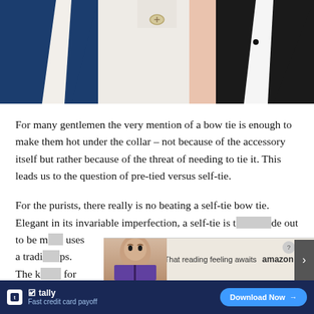[Figure (photo): Three male figures shown from the chest down wearing different formal outfits: navy suit on the left, white dress shirt in the center, and black tuxedo on the right.]
For many gentlemen the very mention of a bow tie is enough to make them hot under the collar – not because of the accessory itself but rather because of the threat of needing to tie it. This leads us to the question of pre-tied versus self-tie.
For the purists, there really is no beating a self-tie bow tie. Elegant in its invariable imperfection, a self-tie is t[...] de out to be r[...] uses a tradi[...] ps. The k[...]